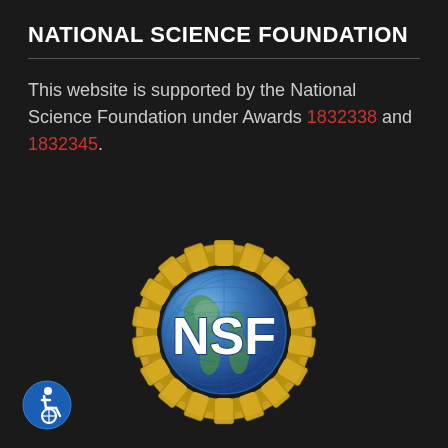NATIONAL SCIENCE FOUNDATION
This website is supported by the National Science Foundation under Awards 1832338 and 1832345.
[Figure (logo): NSF (National Science Foundation) logo: a blue globe with 'NSF' text in white, surrounded by a gold gear/cog ring, on a dark background]
[Figure (logo): Accessibility icon: white wheelchair user symbol on blue circle]